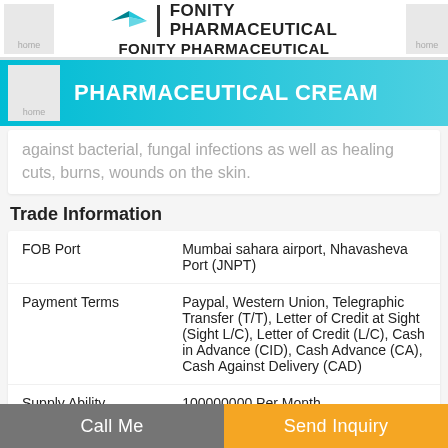FONITY PHARMACEUTICAL FONITY PHARMACEUTICAL
PHARMACEUTICAL CREAM
against bacterial, fungal infections as well as healing cuts, burns, wounds on the skin.
Trade Information
|  |  |
| --- | --- |
| FOB Port | Mumbai sahara airport, Nhavasheva Port (JNPT) |
| Payment Terms | Paypal, Western Union, Telegraphic Transfer (T/T), Letter of Credit at Sight (Sight L/C), Letter of Credit (L/C), Cash in Advance (CID), Cash Advance (CA), Cash Against Delivery (CAD) |
| Supply Ability | 100000000 Per Month |
Call Me | Send Inquiry